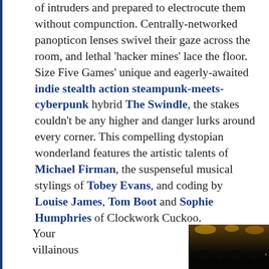of intruders and prepared to electrocute them without compunction. Centrally-networked panopticon lenses swivel their gaze across the room, and lethal 'hacker mines' lace the floor. Size Five Games' unique and eagerly-awaited indie stealth action steampunk-meets-cyberpunk hybrid The Swindle, the stakes couldn't be any higher and danger lurks around every corner. This compelling dystopian wonderland features the artistic talents of Michael Firman, the suspenseful musical stylings of Tobey Evans, and coding by Louise James, Tom Boot and Sophie Humphries of Clockwork Cuckoo.
Your villainous
[Figure (photo): Dark steampunk/cyberpunk game screenshot showing silhouetted figures against a dimly lit interior with warm yellow/amber lighting in the upper portion]